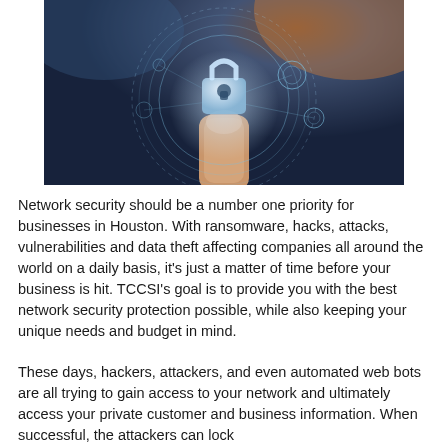[Figure (photo): A hand pointing finger at a glowing digital padlock icon surrounded by circular network security interface graphics on a dark blue background with orange light in upper right corner.]
Network security should be a number one priority for businesses in Houston. With ransomware, hacks, attacks, vulnerabilities and data theft affecting companies all around the world on a daily basis, it's just a matter of time before your business is hit. TCCSI's goal is to provide you with the best network security protection possible, while also keeping your unique needs and budget in mind.
These days, hackers, attackers, and even automated web bots are all trying to gain access to your network and ultimately access your private customer and business information. When successful, the attackers can lock